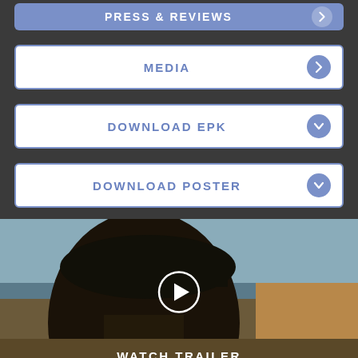PRESS & REVIEWS
MEDIA
DOWNLOAD EPK
DOWNLOAD POSTER
[Figure (screenshot): Video thumbnail showing a man wearing a black cowboy hat, side profile view, with a play button overlay and 'WATCH TRAILER' text at the bottom]